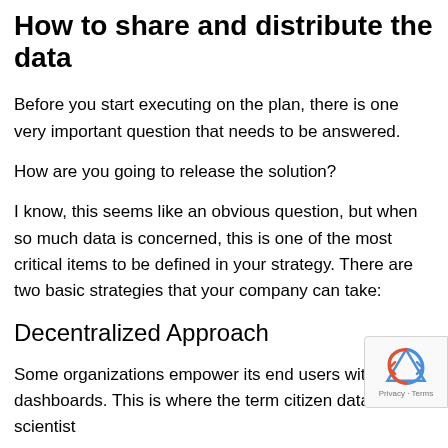How to share and distribute the data
Before you start executing on the plan, there is one very important question that needs to be answered.
How are you going to release the solution?
I know, this seems like an obvious question, but when so much data is concerned, this is one of the most critical items to be defined in your strategy. There are two basic strategies that your company can take:
Decentralized Approach
Some organizations empower its end users with in... dashboards. This is where the term citizen data scientist